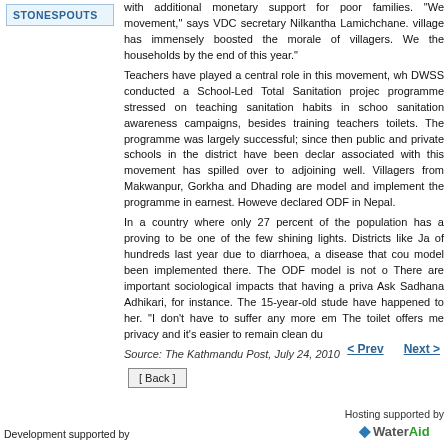STONESPOUTS
with additional monetary support for poor families. “We movement,” says VDC secretary Nilkantha Lamichchane. village has immensely boosted the morale of villagers. We the households by the end of this year.” Teachers have played a central role in this movement, wh DWSS conducted a School-Led Total Sanitation projec programme stressed on teaching sanitation habits in schoo sanitation awareness campaigns, besides training teachers toilets. The programme was largely successful; since then public and private schools in the district have been declar associated with this movement has spilled over to adjoining well. Villagers from Makwanpur, Gorkha and Dhading are model and implement the programme in earnest. Howeve declared ODF in Nepal. In a country where only 27 percent of the population has a proving to be one of the few shining lights. Districts like Ja of hundreds last year due to diarrhoea, a disease that cou model been implemented there. The ODF model is not o There are important sociological impacts that having a priva Ask Sadhana Adhikari, for instance. The 15-year-old stude have happened to her. “I don’t have to suffer any more em The toilet offers me privacy and it’s easier to remain clean du
Source: The Kathmandu Post, July 24, 2010
< Prev   Next
[ Back ]
Hosting supported by WaterAid
Development supported by